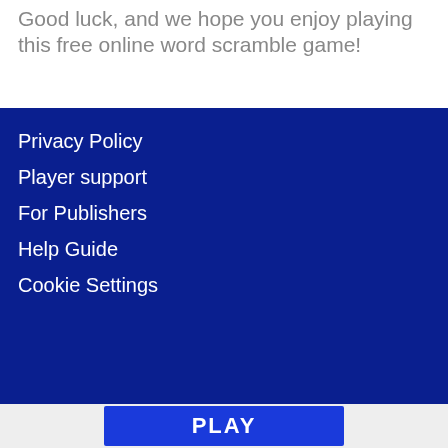Good luck, and we hope you enjoy playing this free online word scramble game!
Privacy Policy
Player support
For Publishers
Help Guide
Cookie Settings
PLAY